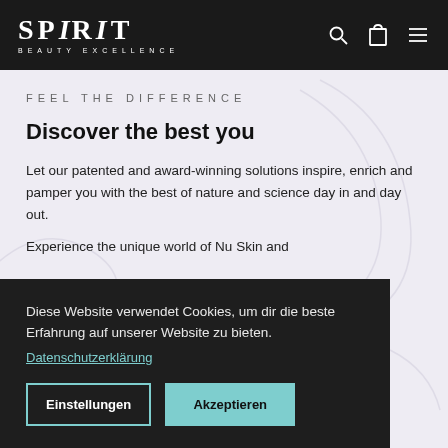SPIRIT BEAUTY EXCELLENCE
FEEL THE DIFFERENCE
Discover the best you
Let our patented and award-winning solutions inspire, enrich and pamper you with the best of nature and science day in and day out.
Experience the unique world of Nu Skin and
Diese Website verwendet Cookies, um dir die beste Erfahrung auf unserer Website zu bieten.
Datenschutzerklärung
Einstellungen  Akzeptieren